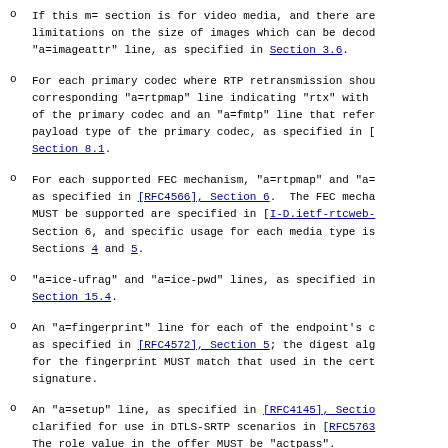If this m= section is for video media, and there are limitations on the size of images which can be decoded, a "a=imageattr" line, as specified in Section 3.6.
For each primary codec where RTP retransmission should be used, a corresponding "a=rtpmap" line indicating "rtx" with the clock rate of the primary codec and an "a=fmtp" line that references the payload type of the primary codec, as specified in [RFC4588], Section 8.1.
For each supported FEC mechanism, "a=rtpmap" and "a=fmtp" lines, as specified in [RFC4566], Section 6. The FEC mechanisms that MUST be supported are specified in [I-D.ietf-rtcweb-security-arch], Section 6, and specific usage for each media type is described in Sections 4 and 5.
"a=ice-ufrag" and "a=ice-pwd" lines, as specified in [RFC5245], Section 15.4.
An "a=fingerprint" line for each of the endpoint's certificates, as specified in [RFC4572], Section 5; the digest algorithm used for the fingerprint MUST match that used in the certificate signature.
An "a=setup" line, as specified in [RFC4145], Section 4, and clarified for use in DTLS-SRTP scenarios in [RFC5763], Section 5. The role value in the offer MUST be "actpass".
An "a=rtcp-mux" line, as specified in [RFC5761], fo...